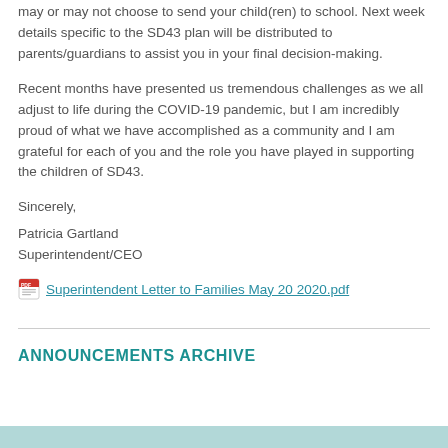may or may not choose to send your child(ren) to school. Next week details specific to the SD43 plan will be distributed to parents/guardians to assist you in your final decision-making.
Recent months have presented us tremendous challenges as we all adjust to life during the COVID-19 pandemic, but I am incredibly proud of what we have accomplished as a community and I am grateful for each of you and the role you have played in supporting the children of SD43.
Sincerely,
Patricia Gartland
Superintendent/CEO
Superintendent Letter to Families May 20 2020.pdf
ANNOUNCEMENTS ARCHIVE